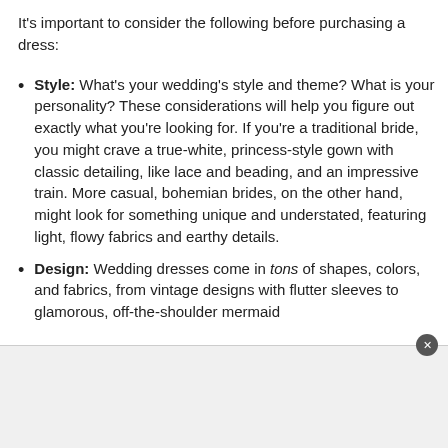It's important to consider the following before purchasing a dress:
Style: What's your wedding's style and theme? What is your personality? These considerations will help you figure out exactly what you're looking for. If you're a traditional bride, you might crave a true-white, princess-style gown with classic detailing, like lace and beading, and an impressive train. More casual, bohemian brides, on the other hand, might look for something unique and understated, featuring light, flowy fabrics and earthy details.
Design: Wedding dresses come in tons of shapes, colors, and fabrics, from vintage designs with flutter sleeves to glamorous, off-the-shoulder mermaid